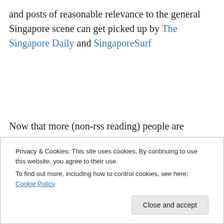and posts of reasonable relevance to the general Singapore scene can get picked up by The Singapore Daily and SingaporeSurf
Now that more (non-rss reading) people are appearing and communicating in the less anonymous space of Facebook, Feedburner has revived its relevance by enabling automatic twittering of its rss feed. I.e. new blog
Privacy & Cookies: This site uses cookies. By continuing to use this website, you agree to their use.
To find out more, including how to control cookies, see here: Cookie Policy